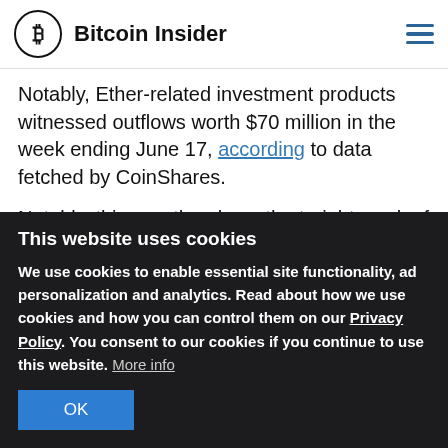Bitcoin Insider
Notably, Ether-related investment products witnessed outflows worth $70 million in the week ending June 17, according to data fetched by CoinShares.
Notably, this was the eleventh-straight week of capital withdrawals, bringing the year-to-date outflow total to $458.6 million.
This website uses cookies
We use cookies to enable essential site functionality, ad personalization and analytics. Read about how we use cookies and how you can control them on our Privacy Policy. You consent to our cookies if you continue to use this website. More info
OK